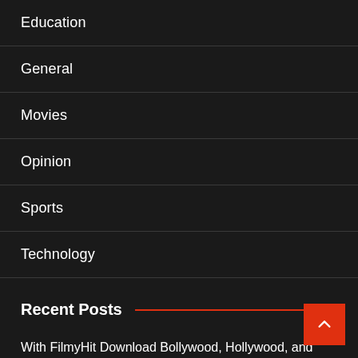Education
General
Movies
Opinion
Sports
Technology
Recent Posts
With FilmyHit Download Bollywood, Hollywood, and Hindi Dubbed Movies | Latest FilmyHit
packaging and labeling, automated packaging soluti…